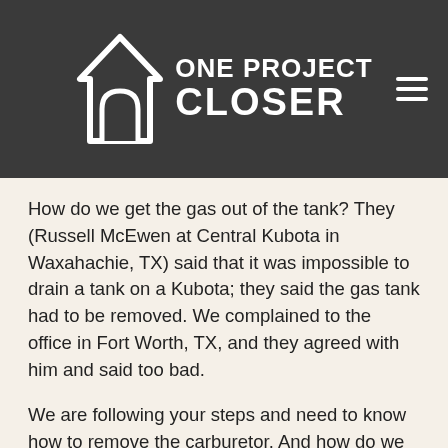ONE PROJECT CLOSER
How do we get the gas out of the tank? They (Russell McEwen at Central Kubota in Waxahachie, TX) said that it was impossible to drain a tank on a Kubota; they said the gas tank had to be removed. We complained to the office in Fort Worth, TX, and they agreed with him and said too bad.
We are following your steps and need to know how to remove the carburetor. And how do we clean the fuel filter, which is filled with amber oil? The technician came out to our house and siphoned off a sample and said, Oh you have bad gas.” And the fuel gauge won’t move at all the gas tank is full and the meter says it is empty. When the technician was asked about that, he just smiled and